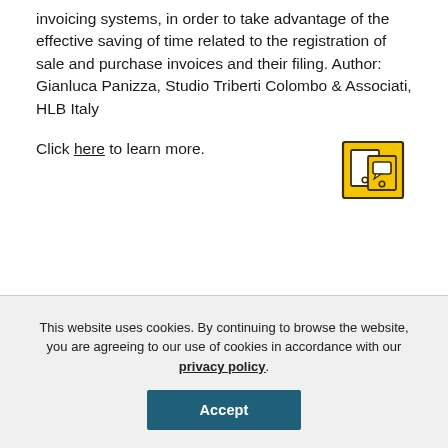invoicing systems, in order to take advantage of the effective saving of time related to the registration of sale and purchase invoices and their filing. Author: Gianluca Panizza, Studio Triberti Colombo & Associati, HLB Italy
Click here to learn more.
[Figure (illustration): Yellow icon depicting overlapping documents/screens with a chat/message symbol]
This website uses cookies. By continuing to browse the website, you are agreeing to our use of cookies in accordance with our privacy policy.